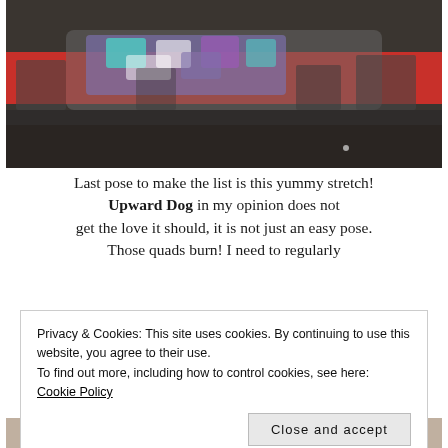[Figure (photo): Person in colorful patterned yoga pants doing upward dog pose on a red mat on a dark wooden floor]
Last pose to make the list is this yummy stretch! Upward Dog in my opinion does not get the love it should, it is not just an easy pose. Those quads burn! I need to regularly
Privacy & Cookies: This site uses cookies. By continuing to use this website, you agree to their use.
To find out more, including how to control cookies, see here: Cookie Policy
Close and accept
[Figure (photo): Partial photo visible at bottom of page]